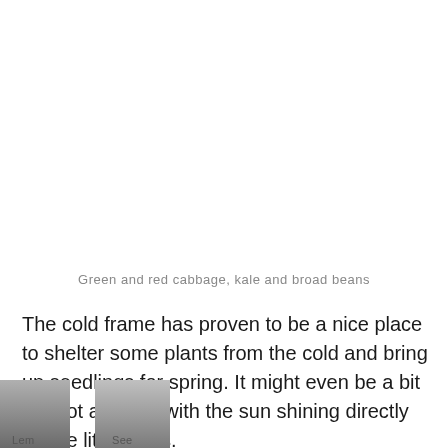Green and red cabbage, kale and broad beans
The cold frame has proven to be a nice place to shelter some plants from the cold and bring up seedlings for spring. It might even be a bit too hot at times with the sun shining directly on the little fellas.
[Figure (photo): Partial bottom image strips showing two photographs, partially visible at bottom of page with labels partially cut off]